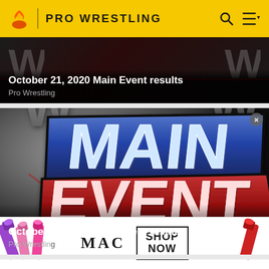PRO WRESTLING
October 21, 2020 Main Event results
Pro Wrestling
[Figure (screenshot): WWE Main Event logo with silver W logos on dark gradient background, showing bold 'MAIN' in blue and 'EVENT' in red stylized text]
October 14, 2020 Main Event results
[Figure (photo): MAC cosmetics advertisement showing lipsticks in purple, pink, and red colors with MAC logo and SHOP NOW button]